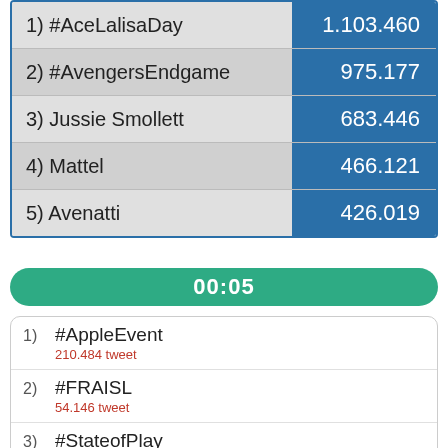| Rank/Topic | Count |
| --- | --- |
| 1) #AceLalisaDay | 1.103.460 |
| 2) #AvengersEndgame | 975.177 |
| 3) Jussie Smollett | 683.446 |
| 4) Mattel | 466.121 |
| 5) Avenatti | 426.019 |
00:05
1) #AppleEvent — 210.484 tweet
2) #FRAISL — 54.146 tweet
3) #StateofPlay — 16.412 tweet
4) McConnell — 119.784 tweet